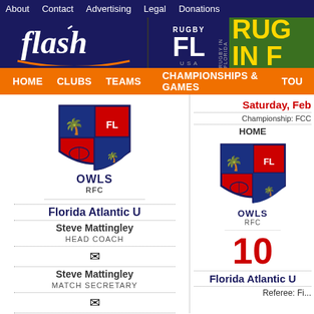About  Contact  Advertising  Legal  Donations
[Figure (logo): Flash logo with arc underline on dark navy background, and Rugby FL logo on green background]
HOME  CLUBS  TEAMS  CHAMPIONSHIPS & GAMES  TOU...
[Figure (logo): Florida Atlantic U OWLS RFC shield logo - small version]
Florida Atlantic U
Steve Mattingley
HEAD COACH
[Figure (other): Email envelope icon]
Steve Mattingley
MATCH SECRETARY
[Figure (other): Email envelope icon]
ADVERTISEMENT
Saturday, Feb...
Championship: FCC...
HOME
[Figure (logo): Florida Atlantic U OWLS RFC shield logo - larger version on right column]
10
Florida Atlantic U
Referee: Fi...